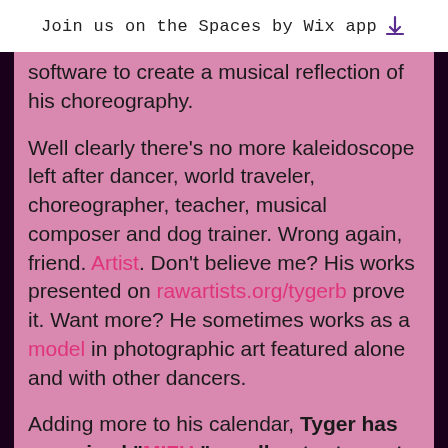Join us on the Spaces by Wix app
software to create a musical reflection of his choreography.
Well clearly there’s no more kaleidoscope left after dancer, world traveler, choreographer, teacher, musical composer and dog trainer. Wrong again, friend. Artist. Don’t believe me? His works presented on rawartists.org/tygerb prove it. Want more? He sometimes works as a model in photographic art featured alone and with other dancers.
Adding more to his calendar, Tyger has organized “MIZU,” an all-out art event for this upcoming